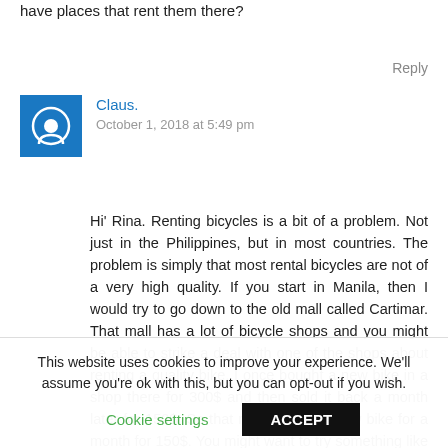have places that rent them there?
Reply
Claus.
October 1, 2018 at 5:49 pm
Hi' Rina. Renting bicycles is a bit of a problem. Not just in the Philippines, but in most countries. The problem is simply that most rental bicycles are not of a very high quality. If you start in Manila, then I would try to go down to the old mall called Cartimar. That mall has a lot of bicycle shops and you might be able to strike a deal with one of the shops about renting a quality bike. I once bought a new bike in a shop there for 300$ and then sold it back a month later for 150$. So that meant I had a new bike for a month for 150$. You might want to try something like that. Good luck with your trip 🙂
This website uses cookies to improve your experience. We'll assume you're ok with this, but you can opt-out if you wish.
Cookie settings  ACCEPT